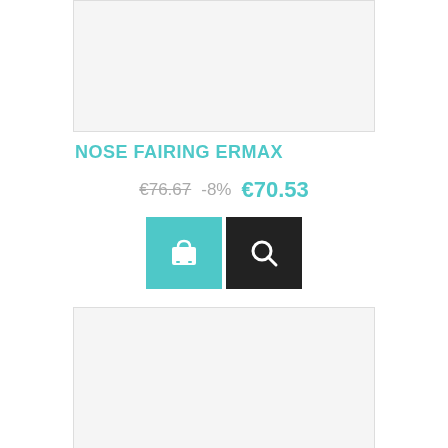[Figure (photo): Product image placeholder box (top, light gray background with border)]
NOSE FAIRING ERMAX
€76.67  -8%  €70.53
[Figure (illustration): Two buttons: teal shopping cart button and black search/magnifier button]
[Figure (photo): Product image placeholder box (bottom, light gray background with border)]